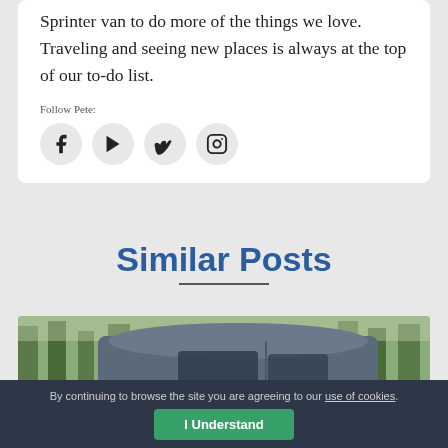Sprinter van to do more of the things we love. Traveling and seeing new places is always at the top of our to-do list.
Follow Pete:
[Figure (other): Four social media icons in circles: Facebook, YouTube (play button), Vimeo (V), Instagram (camera)]
Similar Posts
[Figure (photo): Photo of a Sprinter van parked in a forest with tall trees in the background]
By continuing to browse the site you are agreeing to our use of cookies.
I Understand